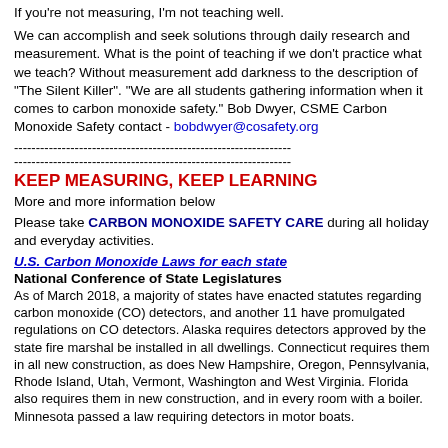If you're not measuring, I'm not teaching well.
We can accomplish and seek solutions through daily research and measurement. What is the point of teaching if we don't practice what we teach? Without measurement add darkness to the description of "The Silent Killer". "We are all students gathering information when it comes to carbon monoxide safety." Bob Dwyer, CSME Carbon Monoxide Safety contact - bobdwyer@cosafety.org
----------------------------------------------------------------
----------------------------------------------------------------
KEEP MEASURING, KEEP LEARNING
More and more information below
Please take CARBON MONOXIDE SAFETY CARE during all holiday and everyday activities.
U.S. Carbon Monoxide Laws for each state
National Conference of State Legislatures
As of March 2018, a majority of states have enacted statutes regarding carbon monoxide (CO) detectors, and another 11 have promulgated regulations on CO detectors. Alaska requires detectors approved by the state fire marshal be installed in all dwellings. Connecticut requires them in all new construction, as does New Hampshire, Oregon, Pennsylvania, Rhode Island, Utah, Vermont, Washington and West Virginia. Florida also requires them in new construction, and in every room with a boiler. Minnesota passed a law requiring detectors in motor boats.